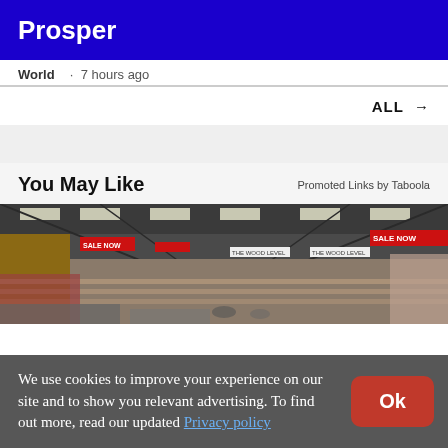Prosper
World  · 7 hours ago
ALL →
You May Like
Promoted Links by Taboola
[Figure (photo): Interior of a large retail store/warehouse with red SALE NOW banners, multiple levels of merchandise displays, and fluorescent lighting.]
We use cookies to improve your experience on our site and to show you relevant advertising. To find out more, read our updated Privacy policy